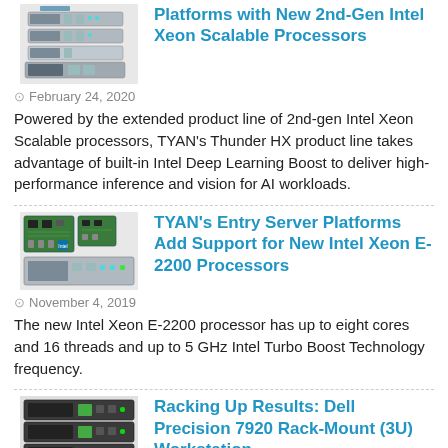[Figure (photo): TYAN Thunder HX server rack units stacked]
Platforms with New 2nd-Gen Intel Xeon Scalable Processors
February 24, 2020
Powered by the extended product line of 2nd-gen Intel Xeon Scalable processors, TYAN's Thunder HX product line takes advantage of built-in Intel Deep Learning Boost to deliver high-performance inference and vision for AI workloads.
[Figure (photo): TYAN entry server platforms with circuit boards and 1U server]
TYAN's Entry Server Platforms Add Support for New Intel Xeon E-2200 Processors
November 4, 2019
The new Intel Xeon E-2200 processor has up to eight cores and 16 threads and up to 5 GHz Intel Turbo Boost Technology frequency.
[Figure (photo): Dell Precision 7920 Rack-Mount workstation]
Racking Up Results: Dell Precision 7920 Rack-Mount (3U) Workstation